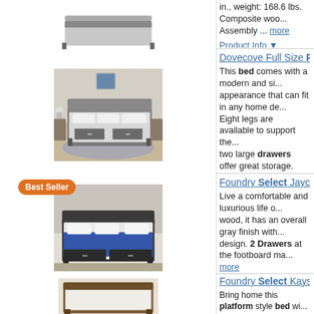in., weight: 168.6 lbs. Composite woo... Assembly ... more
Product Info ▼
Kohl's
Dovecove Full Size Platform B...
This bed comes with a modern and si... appearance that can fit in any home de... Eight legs are available to support the... two large drawers offer great storage. The bed is 10.5" off the floor, so there'... spacious ... more
Product Info ▼
Wayfair
Foundry Select Jayceon Quee...
Live a comfortable and luxurious life o... wood, it has an overall gray finish with... design. 2 Drawers at the footboard ma... more
Product Info ▼
Foundry Select Kayson Queen...
Bring home this platform style bed wi... utmost comfort and luxury. With low fo... comes with rustic wood grain detailing... a center of ... more